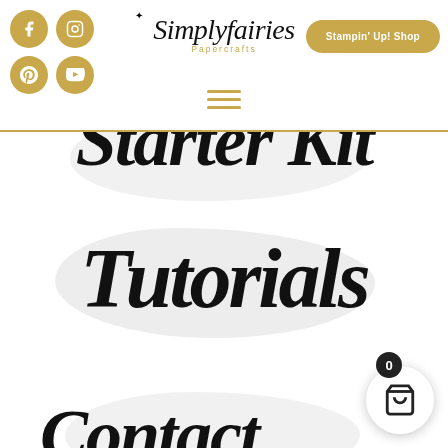[Figure (other): Website navigation page for Simplyfairies Papercrafts with header containing social media icons (Facebook, Instagram, Pinterest, YouTube) as gold circles, brand logo in cursive, Stampin Up Shop button, hamburger menu, and navigation links in decorative script font: Starter Kit, Tutorials, Contact Me. A shopping cart button with badge showing 0 is in bottom right corner.]
Simplyfairies Papercrafts | Stampin' Up! Shop
Starter Kit
Tutorials
Contact Me